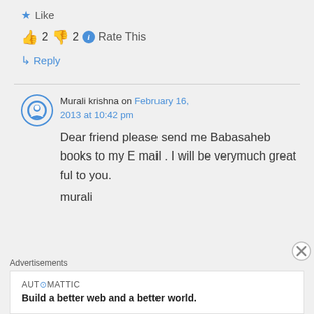★ Like
👍 2 👎 2 ℹ Rate This
↳ Reply
Murali krishna on February 16, 2013 at 10:42 pm
Dear friend please send me Babasaheb books to my E mail . I will be verymuch great ful to you.

murali
Advertisements
AUTOMATTIC
Build a better web and a better world.